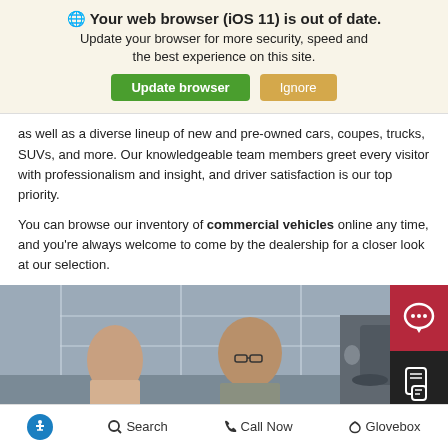🌐 Your web browser (iOS 11) is out of date. Update your browser for more security, speed and the best experience on this site. [Update browser] [Ignore]
as well as a diverse lineup of new and pre-owned cars, coupes, trucks, SUVs, and more. Our knowledgeable team members greet every visitor with professionalism and insight, and driver satisfaction is our top priority.
You can browse our inventory of commercial vehicles online any time, and you're always welcome to come by the dealership for a closer look at our selection.
[Figure (photo): Two people, a woman and a man wearing glasses, talking inside an auto dealership with a vehicle visible on the right side. Two chat/messaging icons appear on the right edge.]
Accessibility  Search  Call Now  Glovebox